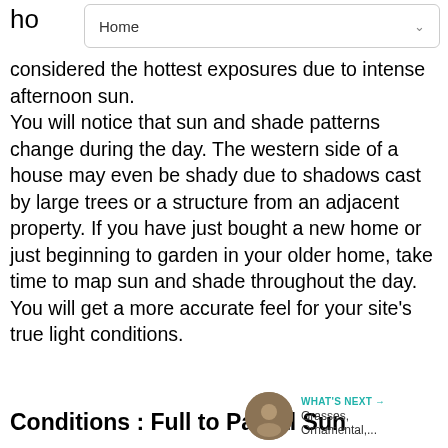Home
considered the hottest exposures due to intense afternoon sun. You will notice that sun and shade patterns change during the day. The western side of a house may even be shady due to shadows cast by large trees or a structure from an adjacent property. If you have just bought a new home or just beginning to garden in your older home, take time to map sun and shade throughout the day. You will get a more accurate feel for your site's true light conditions.
Conditions : Full to Partial Sun